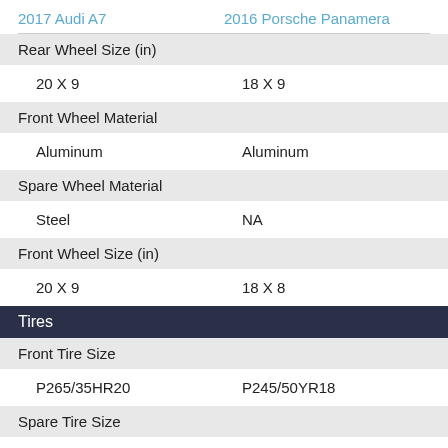2017 Audi A7    2016 Porsche Panamera
|  | 2017 Audi A7 | 2016 Porsche Panamera |
| --- | --- | --- |
| Rear Wheel Size (in) |  |  |
|  | 20 X 9 | 18 X 9 |
| Front Wheel Material |  |  |
|  | Aluminum | Aluminum |
| Spare Wheel Material |  |  |
|  | Steel | NA |
| Front Wheel Size (in) |  |  |
|  | 20 X 9 | 18 X 8 |
| Tires |  |  |
| Front Tire Size |  |  |
|  | P265/35HR20 | P245/50YR18 |
| Spare Tire Size |  |  |